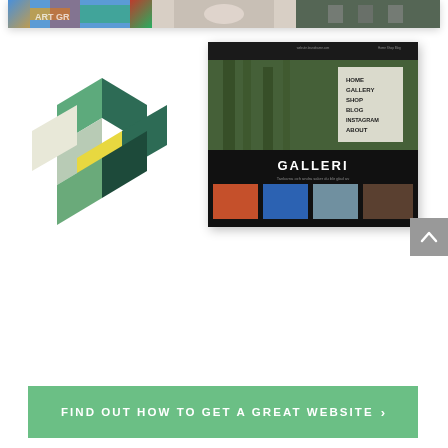[Figure (screenshot): Three photo thumbnails in a white card at the top of the page]
[Figure (logo): Geometric 3D cube logo made of colored rhombus shapes in dark green, light green, cream/white, and yellow]
[Figure (screenshot): Website screenshot showing a photography/art gallery website with forest hero image, navigation menu (HOME, GALLERY, SHOP, BLOG, INSTAGRAM, ABOUT), and gallery grid section with GALLERI heading]
[Figure (other): Gray scroll-to-top button with upward chevron arrow]
FIND OUT HOW TO GET A GREAT WEBSITE >